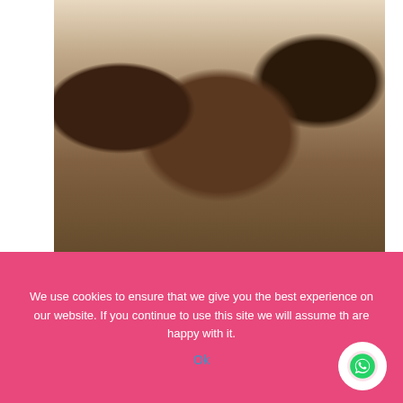[Figure (photo): Group of women sitting around tables in a training/workshop setting, viewed from behind, in a room with red and gold chairs]
A woman defender asks a question during the training.
The Women defenders were encouraged to work amicably with duty bearers. For instance they can build a friendly working relationship with police officers in their areas. This would make it easy for them to report an attack or follow up on cases.
The training methodology encouraged participation by every member. For instance, the WHRDN-U staff, divided participants in to 3 groups. The group discussions enabled participants to discuss key questions namely:
We use cookies to ensure that we give you the best experience on our website. If you continue to use this site we will assume that you are happy with it.
Ok